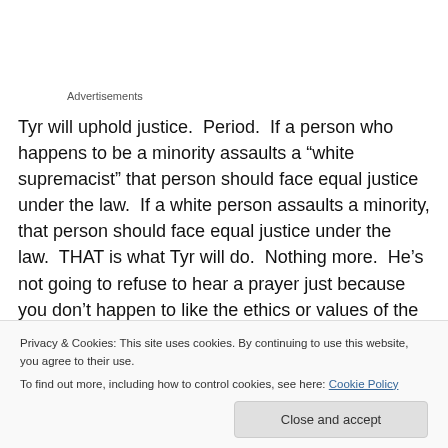Advertisements
Tyr will uphold justice.  Period.  If a person who happens to be a minority assaults a “white supremacist” that person should face equal justice under the law.  If a white person assaults a minority, that person should face equal justice under the law.  THAT is what Tyr will do.  Nothing more.  He’s not going to refuse to hear a prayer just because you don’t happen to like the ethics or values of the person
Privacy & Cookies: This site uses cookies. By continuing to use this website, you agree to their use.
To find out more, including how to control cookies, see here: Cookie Policy